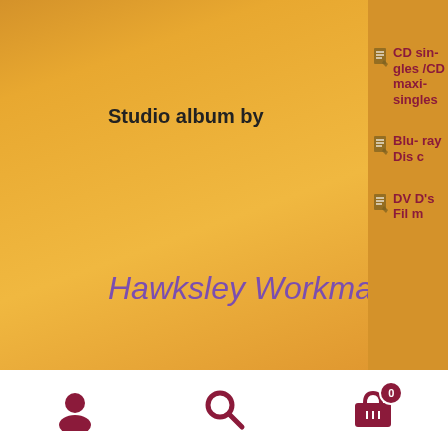Studio album by
Hawksley Workman
Released	2003
Recorded	Unknown
Genre	Indie rock
CD singles/CD maxi-singles
Blu-ray Disc
DVD's Film